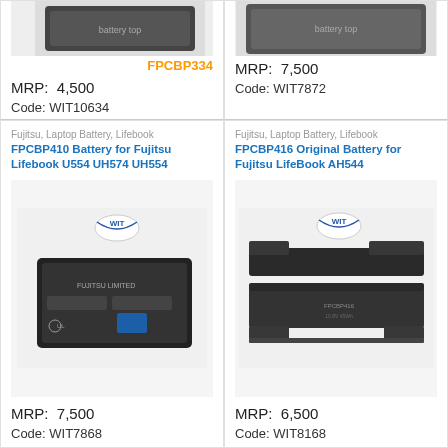[Figure (photo): Partial view of a laptop battery (top cropped), with orange FPCBP334 label]
MRP:  4,500
Code: WIT10634
[Figure (photo): Partial view of a laptop battery (top cropped)]
MRP:  7,500
Code: WIT7872
Fujitsu, Laptop Battery, Lifebook
FPCBP410 Battery for Fujitsu Lifebook U554 UH574 UH554
[Figure (photo): Fujitsu FPCBP410 thin tablet battery with WIT logo]
MRP:  7,500
Code: WIT7868
Fujitsu, Laptop Battery, Lifebook
FPCBP416 Original Battery for Fujitsu LifeBook AH544
[Figure (photo): Fujitsu FPCBP416 laptop battery with WIT logo, black rectangular battery]
MRP:  6,500
Code: WIT8168